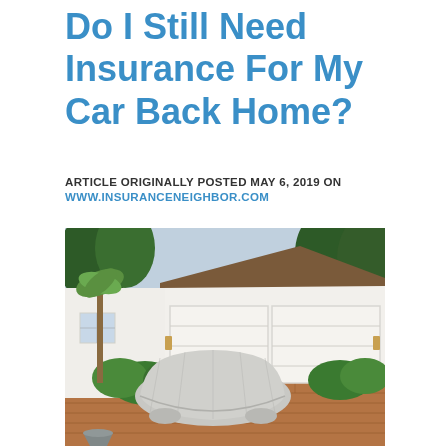Do I Still Need Insurance For My Car Back Home?
ARTICLE ORIGINALLY POSTED MAY 6, 2019 ON
WWW.INSURANCENEIGHBOR.COM
[Figure (photo): A car covered with a grey car cover parked in the driveway of a white residential house with a double garage door, surrounded by green shrubs, palm trees, and large trees in the background.]